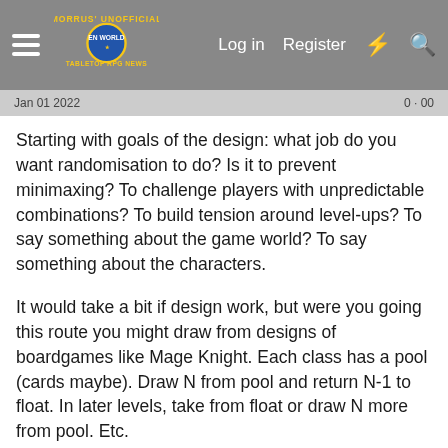Morrus' Unofficial Tabletop RPG News — Log in  Register
Starting with goals of the design: what job do you want randomisation to do? Is it to prevent minimaxing? To challenge players with unpredictable combinations? To build tension around level-ups? To say something about the game world? To say something about the characters.
It would take a bit if design work, but were you going this route you might draw from designs of boardgames like Mage Knight. Each class has a pool (cards maybe). Draw N from pool and return N-1 to float. In later levels, take from float or draw N more from pool. Etc.
BUT You stated a goal as - make the world fit together. How does randomisation achieve your goal? Is the real issue character power? If it is character power, what are the dimensions of power that most matter? Is it number of